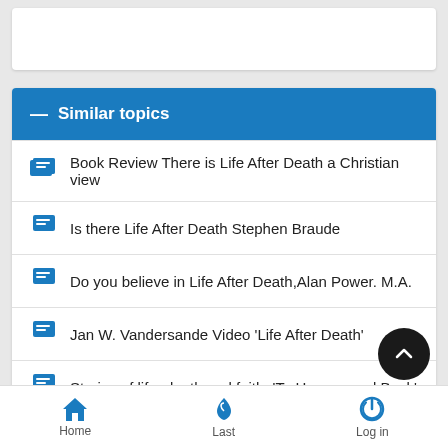Similar topics
Book Review There is Life After Death a Christian view
Is there Life After Death Stephen Braude
Do you believe in Life After Death,Alan Power. M.A.
Jan W. Vandersande Video 'Life After Death'
Stories of life, death and faith: 'To Heaven and Back'
Home  Last  Log in